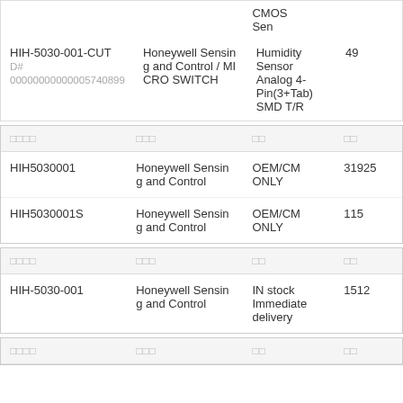| 製品番号 | メーカー | 分類 | 数量 |
| --- | --- | --- | --- |
|  |  | CMOS
Sen |  |
| HIH-5030-001-CUT
D# 00000000000005740899 | Honeywell Sensing and Control / MICRO SWITCH | Humidity Sensor Analog 4-Pin(3+Tab) SMD T/R | 49 |
| 製品番号 | メーカー | 分類 | 数量 |
| --- | --- | --- | --- |
| HIH5030001 | Honeywell Sensing and Control | OEM/CM ONLY | 31925 |
| HIH5030001S | Honeywell Sensing and Control | OEM/CM ONLY | 115 |
| 製品番号 | メーカー | 分類 | 数量 |
| --- | --- | --- | --- |
| HIH-5030-001 | Honeywell Sensing and Control | IN stock Immediate delivery | 1512 |
| 製品番号 | メーカー | 分類 | 数量 |
| --- | --- | --- | --- |